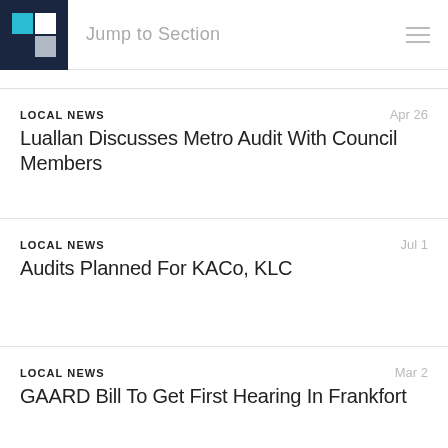Jump to Section
LOCAL NEWS | Apr 26 | Luallan Discusses Metro Audit With Council Members
LOCAL NEWS | Jul 1 | Audits Planned For KACo, KLC
LOCAL NEWS | Mar 2 | GAARD Bill To Get First Hearing In Frankfort